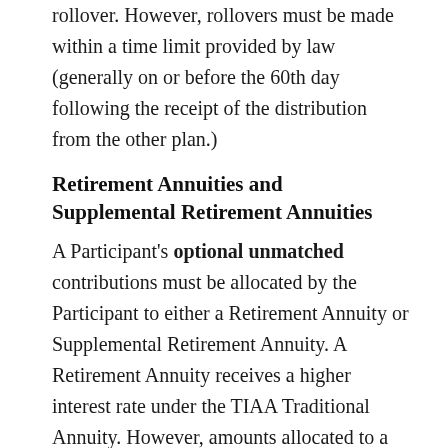rollover. However, rollovers must be made within a time limit provided by law (generally on or before the 60th day following the receipt of the distribution from the other plan.)
Retirement Annuities and Supplemental Retirement Annuities
A Participant's optional unmatched contributions must be allocated by the Participant to either a Retirement Annuity or Supplemental Retirement Annuity. A Retirement Annuity receives a higher interest rate under the TIAA Traditional Annuity. However, amounts allocated to a Supplemental Retirement Annuity can be immediately